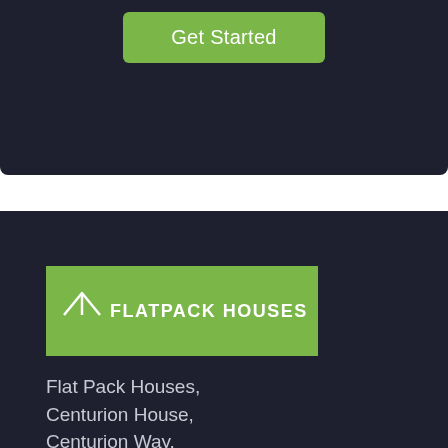[Figure (other): Dark navy rounded box with a green 'Get Started' button centered at top]
[Figure (logo): Flatpack Houses logo: green rectangle with white house icon and text 'FLATPACK HOUSES']
Flat Pack Houses,
Centurion House,
Centurion Way,